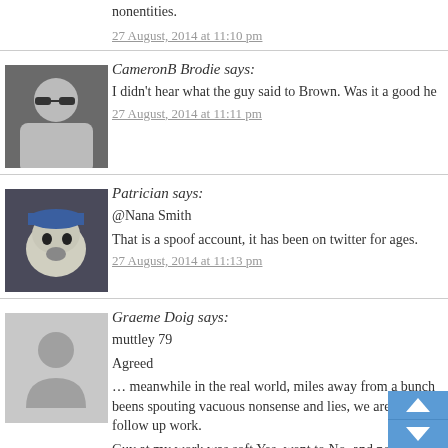nonentities.
27 August, 2014 at 11:10 pm
[Figure (photo): Avatar photo of CameronB Brodie - person with sunglasses]
CameronB Brodie says:
I didn't hear what the guy said to Brown. Was it a good he
27 August, 2014 at 11:11 pm
[Figure (photo): Avatar photo of Patrician - dog with cap]
Patrician says:
@Nana Smith

That is a spoof account, it has been on twitter for ages.
27 August, 2014 at 11:13 pm
[Figure (photo): Default gray avatar silhouette for Graeme Doig]
Graeme Doig says:
muttley 79

Agreed

… meanwhile in the real world, miles away from a bunch beens spouting vacuous nonsense and lies, we are all do follow up work.
Guy at my work was soft Yes, went to No, and no
Yes mostly due to WBB which is currently doing it